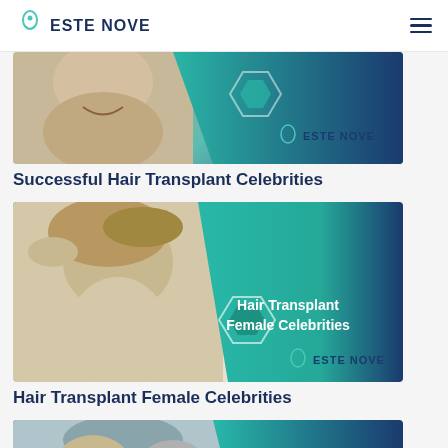ESTE NOVE
[Figure (photo): Partial view of a man's smiling face with Este Nove branded banner featuring teal and dark blue gradient with hexagon design and logo]
Successful Hair Transplant Celebrities
[Figure (photo): Woman touching her hair with Hair Transplant Female Celebrities text overlay on teal and dark blue gradient banner with hexagon design and Este Nove logo]
Hair Transplant Female Celebrities
[Figure (photo): Partial view of a person touching their hair, Este Nove branded banner with teal and dark blue gradient - partially cropped at bottom of page]